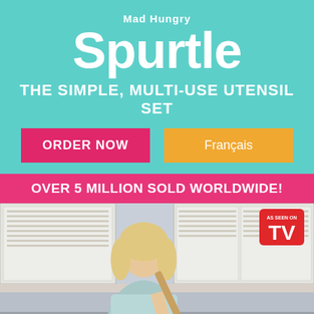Mad Hungry
Spurtle
THE SIMPLE, MULTI-USE UTENSIL SET
ORDER NOW
Français
OVER 5 MILLION SOLD WORLDWIDE!
[Figure (photo): A blonde woman in a light blue top holding a wooden spurtle/rolling pin in a kitchen setting, with white cabinets in the background. An 'As Seen On TV' badge is in the upper right corner.]